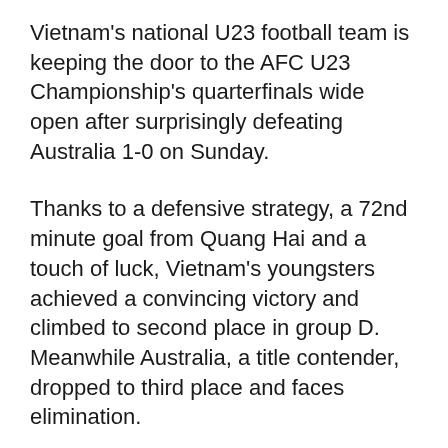Vietnam's national U23 football team is keeping the door to the AFC U23 Championship's quarterfinals wide open after surprisingly defeating Australia 1-0 on Sunday.
Thanks to a defensive strategy, a 72nd minute goal from Quang Hai and a touch of luck, Vietnam's youngsters achieved a convincing victory and climbed to second place in group D. Meanwhile Australia, a title contender, dropped to third place and faces elimination.
If the Vietnamese team could remain in the group's top two, it would be among the first Southeast Asian teams in the history of the championship to enter the quarterfinals. Thailand and Malaysia are the only other teams from the region to participate in the group stage this year, but the former has already been eliminated after losing both matches it had